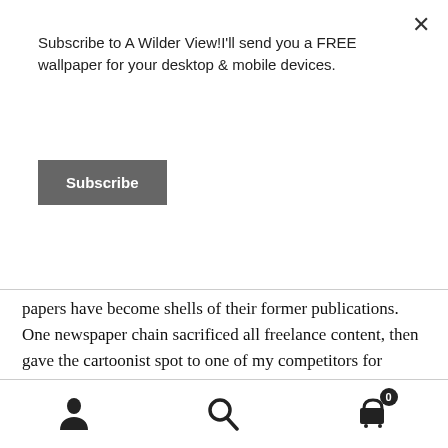Subscribe to A Wilder View!I'll send you a FREE wallpaper for your desktop & mobile devices.
Subscribe
papers have become shells of their former publications. One newspaper chain sacrificed all freelance content, then gave the cartoonist spot to one of my competitors for supplying them all with free cartoons for months on end.
Apparently, that cartoonist has never heard that nobody wins a race to the bottom.
[Figure (infographic): Mobile navigation footer bar with three icons: user/person icon, search/magnifying glass icon, and a shopping cart icon with badge showing 0]